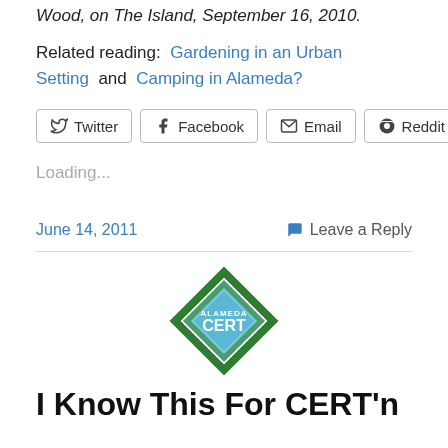Wood, on The Island, September 16, 2010.
Related reading:  Gardening in an Urban Setting  and  Camping in Alameda?
[Figure (other): Social share buttons: Twitter, Facebook, Email, Reddit, More]
Loading...
June 14, 2011
Leave a Reply
[Figure (logo): Alameda CERT (Community Emergency Response Team) diamond-shaped badge logo with green border and blue/green interior]
I Know This For CERT'n